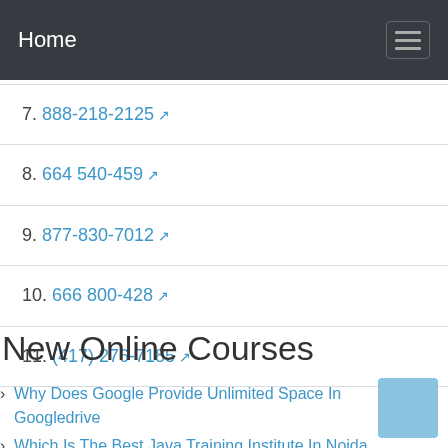Home
7. 888-218-2125
8. 664 540-459
9. 877-830-7012
10. 666 800-428
11. (417) 276-7185
New Online Courses
Why Does Google Provide Unlimited Space In Googledrive
Which Is The Best Java Training Institute In Noida
Howard University College Tour Schedule